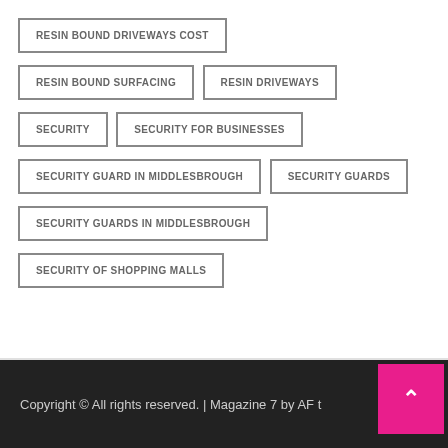RESIN BOUND DRIVEWAYS COST
RESIN BOUND SURFACING
RESIN DRIVEWAYS
SECURITY
SECURITY FOR BUSINESSES
SECURITY GUARD IN MIDDLESBROUGH
SECURITY GUARDS
SECURITY GUARDS IN MIDDLESBROUGH
SECURITY OF SHOPPING MALLS
Copyright © All rights reserved. | Magazine 7 by AF t